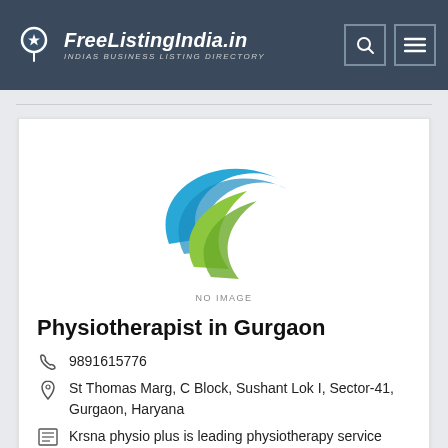FreeListingIndia.in — INDIAS BUSINESS LISTING DIRECTORY
[Figure (logo): FreeListingIndia.in logo — location pin with star icon and swoosh graphic, blue and green colors]
Physiotherapist in Gurgaon
9891615776
St Thomas Marg, C Block, Sushant Lok I, Sector-41, Gurgaon, Haryana
Krsna physio plus is leading physiotherapy service provider. It has the best physiotherapist who serves his services for many years. It.....ny cities.
Listed In : Healthcare